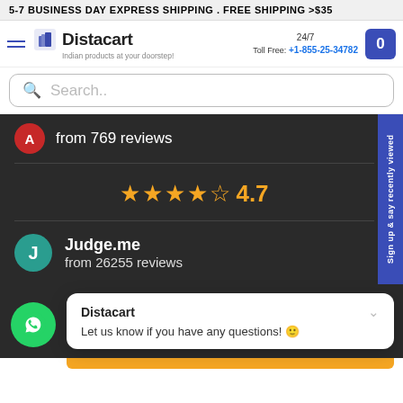5-7 BUSINESS DAY EXPRESS SHIPPING . FREE SHIPPING >$35
[Figure (logo): Distacart logo with shopping bag icon and tagline 'Indian products at your doorstep']
24/7 Toll Free: +1-855-25-34782
Search..
from 769 reviews
★★★★½ 4.7
Judge.me from 26255 reviews
Sign up & say recently viewed
Distacart
Let us know if you have any questions! 😊